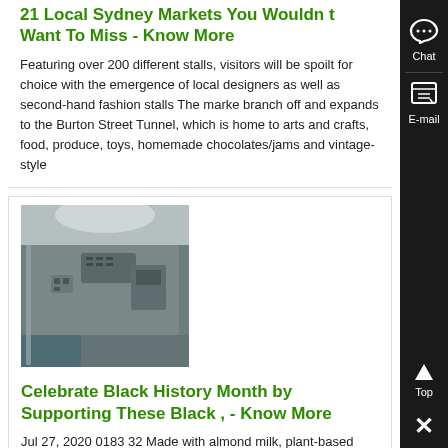21 Local Sydney Markets You Wouldn t Want To Miss - Know More
Featuring over 200 different stalls, visitors will be spoilt for choice with the emergence of local designers as well as second-hand fashion stalls The marke branch off and expands to the Burton Street Tunnel, which is home to arts and crafts, food, produce, toys, homemade chocolates/jams and vintage-style
[Figure (photo): Interior photo of an industrial or mechanical space with metal panels and equipment]
Celebrate Black History Month by Supporting These Black , - Know More
Jul 27, 2020 0183 32 Made with almond milk, plant-based protein, vanilla, and cinnamon, this delicious, vanilla-flavored protein drink from Koia is packed with healthy dose of vitamins, minerals, and antioxidants Almond milk and a proprietary blend of plant protein from real foods like brown rice, peas, and hem